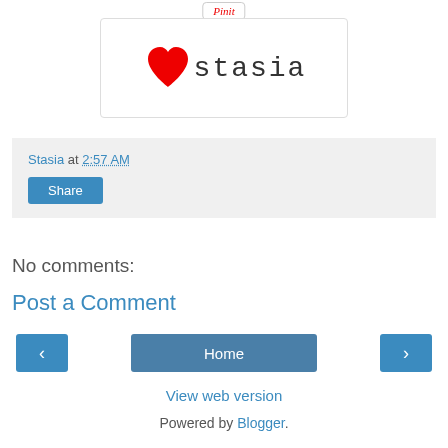[Figure (logo): Heart symbol (red) followed by 'stasia' text in thin serif/monospace font, inside a bordered box]
Stasia at 2:57 AM
Share
No comments:
Post a Comment
Home
View web version
Powered by Blogger.